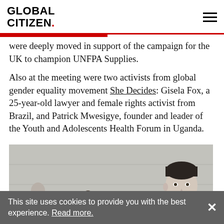GLOBAL CITIZEN
were deeply moved in support of the campaign for the UK to champion UNFPA Supplies.
Also at the meeting were two activists from global gender equality movement She Decides: Gisela Fox, a 25-year-old lawyer and female rights activist from Brazil, and Patrick Mwesigye, founder and leader of the Youth and Adolescents Health Forum in Uganda.
[Figure (photo): Group of people standing together, including a man with short dark hair visible prominently on the right side, photographed against a concrete wall background.]
This site uses cookies to provide you with the best experience. Read more.